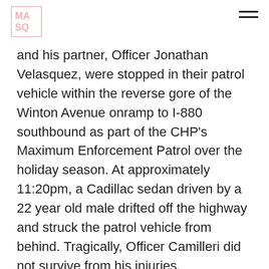MASQ logo and navigation
and his partner, Officer Jonathan Velasquez, were stopped in their patrol vehicle within the reverse gore of the Winton Avenue onramp to I-880 southbound as part of the CHP's Maximum Enforcement Patrol over the holiday season. At approximately 11:20pm, a Cadillac sedan driven by a 22 year old male drifted off the highway and struck the patrol vehicle from behind. Tragically, Officer Camilleri did not survive from his injuries.
Andrew (33) was an avid member of CFT Fitness and began his career with the California Highway Patrol on August 22, 2016. He is survived by his wife, daughter, two sons, his parents, brother, and